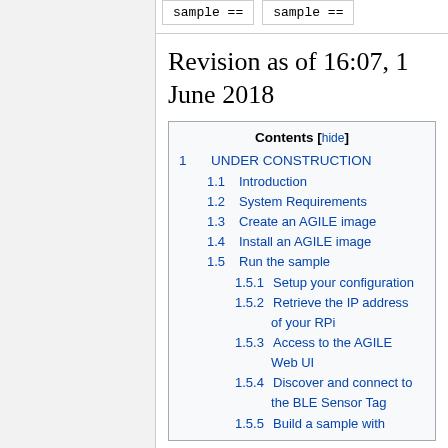sample ==
sample ==
Revision as of 16:07, 1 June 2018
Contents [hide]
1  UNDER CONSTRUCTION
1.1  Introduction
1.2  System Requirements
1.3  Create an AGILE image
1.4  Install an AGILE image
1.5  Run the sample
1.5.1  Setup your configuration
1.5.2  Retrieve the IP address of your RPi
1.5.3  Access to the AGILE Web UI
1.5.4  Discover and connect to the BLE Sensor Tag
1.5.5  Build a sample with